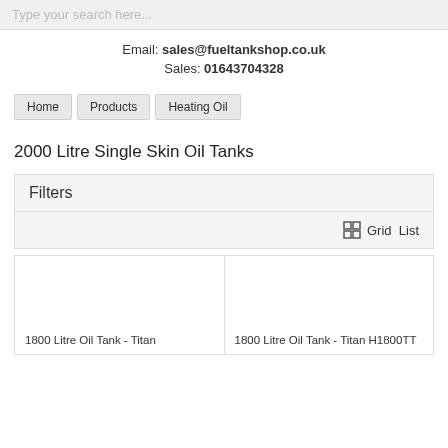Type your search here...
Email: sales@fueltankshop.co.uk
Sales: 01643704328
Home
Products
Heating Oil
2000 Litre Single Skin Oil Tanks
Filters
Grid  List
1800 Litre Oil Tank - Titan
1800 Litre Oil Tank - Titan H1800TT